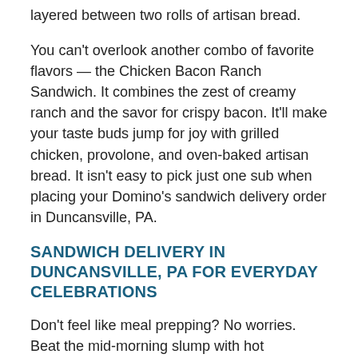layered between two rolls of artisan bread.
You can't overlook another combo of favorite flavors — the Chicken Bacon Ranch Sandwich. It combines the zest of creamy ranch and the savor for crispy bacon. It'll make your taste buds jump for joy with grilled chicken, provolone, and oven-baked artisan bread. It isn't easy to pick just one sub when placing your Domino's sandwich delivery order in Duncansville, PA.
SANDWICH DELIVERY IN DUNCANSVILLE, PA FOR EVERYDAY CELEBRATIONS
Don't feel like meal prepping? No worries. Beat the mid-morning slump with hot sandwich delivery in Duncansville, PA. We'll come to your office! If you're placing an order for the whole office, make sure there's something for everyone to eat including pizza groupies, sandwich enthusiasts, and vegetarian devotees, ordering a well-rounded mix of subs, pasta, and pizza might make you the employee of the month.
Whether you're entertaining a crowd at home or just trying to get an affordable, easy dinner without packing the family in the car —